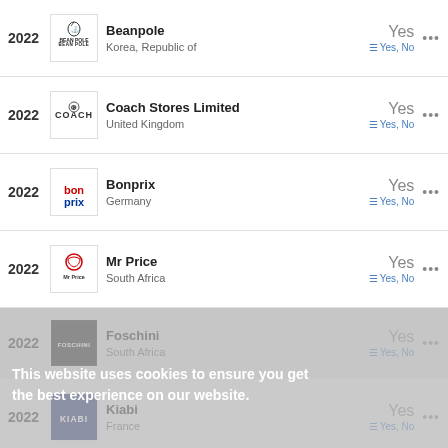| Year | Logo | Brand | Country | Status | Actions |
| --- | --- | --- | --- | --- | --- |
| 2022 | Beanpole | Beanpole | Korea, Republic of | Yes / Yes, No | ... |
| 2022 | Coach | Coach Stores Limited | United Kingdom | Yes / Yes, No | ... |
| 2022 | Bonprix | Bonprix | Germany | Yes / Yes, No | ... |
| 2022 | Mr Price | Mr Price | South Africa | Yes / Yes, No | ... |
| 2022 | Foschini | Foschini | South Africa | Yes / Yes, No | ... |
| 2022 | Kiabi | Kiabi | France | Yes / Yes, No | ... |
This website uses cookies to ensure you get the best experience on our website.
1 - 20 of 823
« 1 2 3 ... 42 »
Export